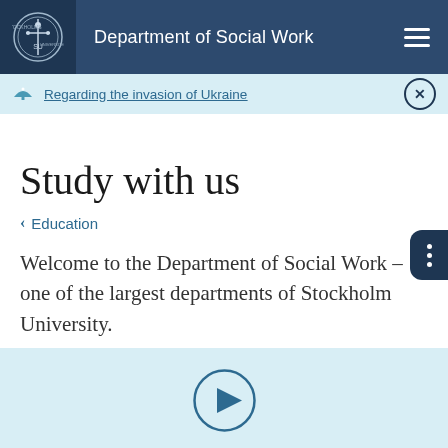Department of Social Work
Regarding the invasion of Ukraine
Study with us
< Education
Welcome to the Department of Social Work – one of the largest departments of Stockholm University.
[Figure (screenshot): Video thumbnail with play button on light blue background]